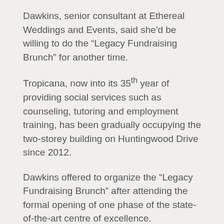Dawkins, senior consultant at Ethereal Weddings and Events, said she'd be willing to do the “Legacy Fundraising Brunch” for another time.
Tropicana, now into its 35th year of providing social services such as counseling, tutoring and employment training, has been gradually occupying the two-storey building on Huntingwood Drive since 2012.
Dawkins offered to organize the “Legacy Fundraising Brunch” after attending the formal opening of one phase of the state-of-the-art centre of excellence.
“I love the community and when I came to the opening, I saw the fantastic job that was done in acquiring the facility,” Dawkins said.
“I wanted people to know that this space is available. We,